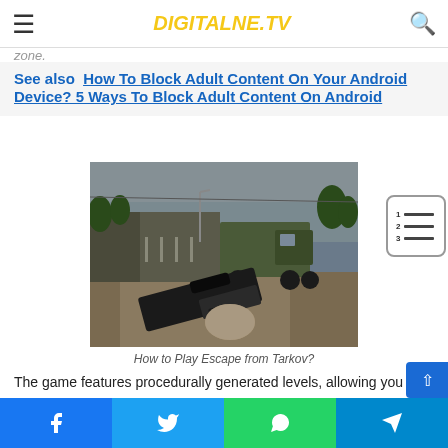DIGITALNE.TV
zone.
See also  How To Block Adult Content On Your Android Device? 5 Ways To Block Adult Content On Android
[Figure (photo): First-person view of player holding assault rifle in Escape from Tarkov game, with military truck and industrial area in background]
How to Play Escape from Tarkov?
The game features procedurally generated levels, allowing you